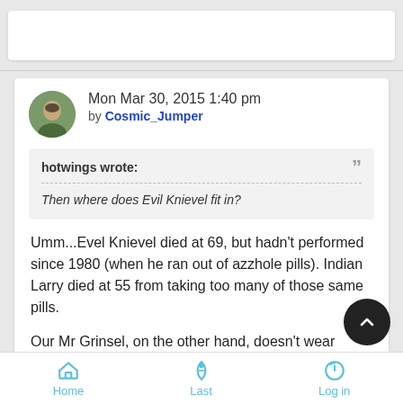Mon Mar 30, 2015 1:40 pm by Cosmic_Jumper
hotwings wrote: Then where does Evil Knievel fit in?
Umm...Evel Knievel died at 69, but hadn't performed since 1980 (when he ran out of azzhole pills). Indian Larry died at 55 from taking too many of those same pills.
Our Mr Grinsel, on the other hand, doesn't wear underwear, doesn't take any of those performance enhancing pills, and still putting many of us to same with the amount of miles he
Home   Last   Log in